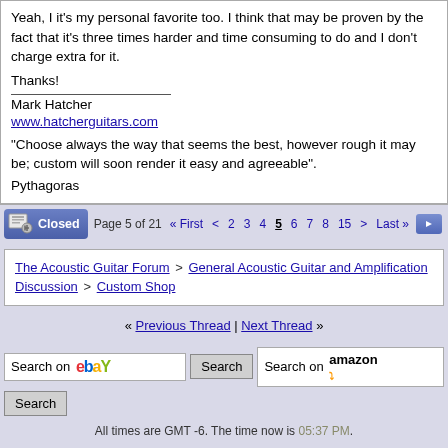Yeah, I it's my personal favorite too. I think that may be proven by the fact that it's three times harder and time consuming to do and I don't charge extra for it.

Thanks!

___________________
Mark Hatcher
www.hatcherguitars.com

"Choose always the way that seems the best, however rough it may be; custom will soon render it easy and agreeable".

Pythagoras
Page 5 of 21 « First < 2 3 4 5 6 7 8 15 > Last »
The Acoustic Guitar Forum > General Acoustic Guitar and Amplification Discussion > Custom Shop
« Previous Thread | Next Thread »
Search on ebay  Search  Search on amazon  Search
All times are GMT -6. The time now is 05:37 PM.